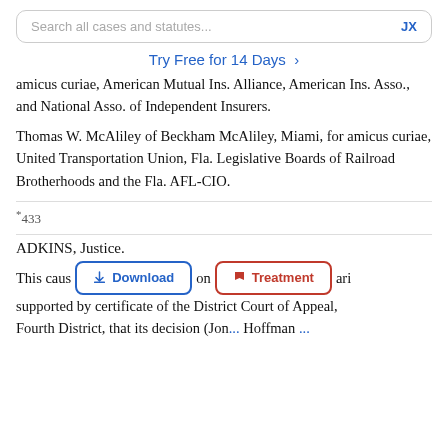Search all cases and statutes...  JX
Try Free for 14 Days >
amicus curiae, American Mutual Ins. Alliance, American Ins. Asso., and National Asso. of Independent Insurers.
Thomas W. McAliley of Beckham McAliley, Miami, for amicus curiae, United Transportation Union, Fla. Legislative Boards of Railroad Brotherhoods and the Fla. AFL-CIO.
*433
ADKINS, Justice.
This cause ... on ... certiorari supported by certificate of the District Court of Appeal, Fourth District, that its decision (Jones v. Hoffman...